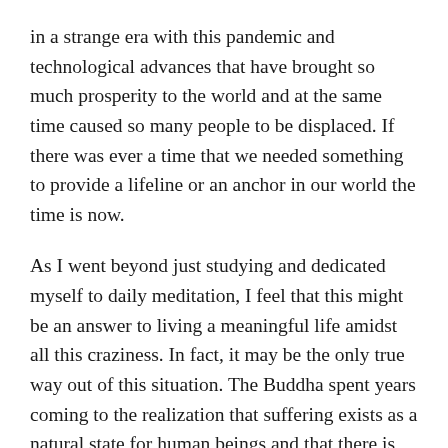in a strange era with this pandemic and technological advances that have brought so much prosperity to the world and at the same time caused so many people to be displaced. If there was ever a time that we needed something to provide a lifeline or an anchor in our world the time is now.
As I went beyond just studying and dedicated myself to daily meditation, I feel that this might be an answer to living a meaningful life amidst all this craziness. In fact, it may be the only true way out of this situation. The Buddha spent years coming to the realization that suffering exists as a natural state for human beings and that there is an end to suffering. His prescription was developing a practice of meditation and following the Eightfold Path. You might be thinking this is bullshit, how can I benefit from studying an applied philosophy created 2,500 years